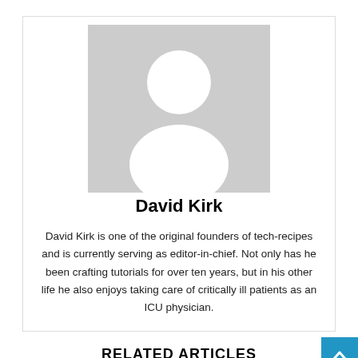[Figure (photo): Gray placeholder avatar silhouette image for author David Kirk]
David Kirk
David Kirk is one of the original founders of tech-recipes and is currently serving as editor-in-chief. Not only has he been crafting tutorials for over ten years, but in his other life he also enjoys taking care of critically ill patients as an ICU physician.
RELATED ARTICLES
[Figure (photo): Thumbnail image of a person holding an iPhone, used for the article about hiding iPhone apps]
How to Hide iPhone Apps Without Uninstalling Them